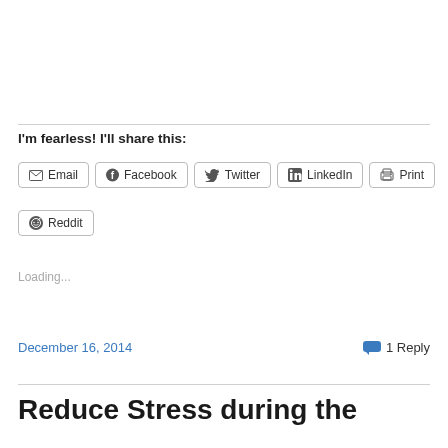I'm fearless! I'll share this:
[Figure (other): Social share buttons: Email, Facebook, Twitter, LinkedIn, Print, Reddit]
Loading...
December 16, 2014
1 Reply
Reduce Stress during the